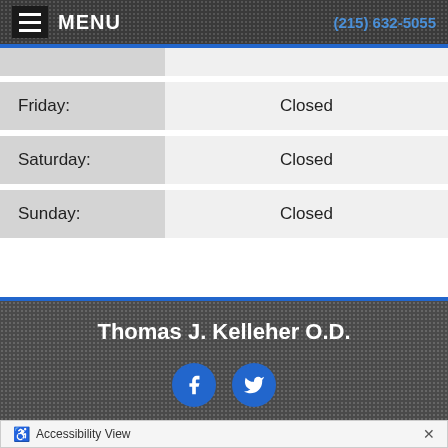MENU | (215) 632-5055
| Day | Hours |
| --- | --- |
| Friday: | Closed |
| Saturday: | Closed |
| Sunday: | Closed |
Thomas J. Kelleher O.D.
[Figure (illustration): Facebook and Twitter social media icons (blue circles with white logos)]
Copyright © 2022 MH Sub I, LLC dba iMatrix | Admin Log In | Site Map
Accessibility View  ×